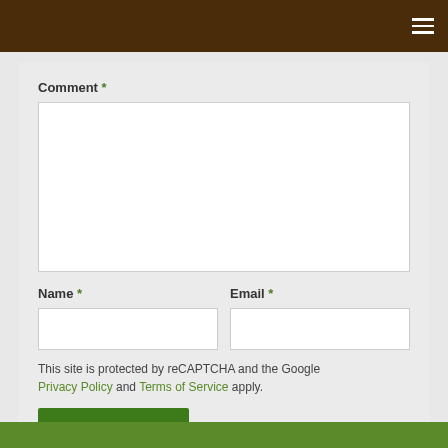Navigation menu (hamburger icon)
Comment *
Name *
Email *
This site is protected by reCAPTCHA and the Google Privacy Policy and Terms of Service apply.
Post Comment